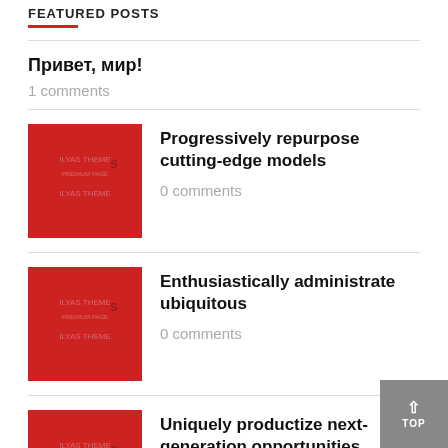FEATURED POSTS
Привет, мир!
1 comments
Progressively repurpose cutting-edge models
0 comments
Enthusiastically administrate ubiquitous
0 comments
Uniquely productize next-generation opportunities
0 comments
Dramatically integrate viral technologies
0 comments